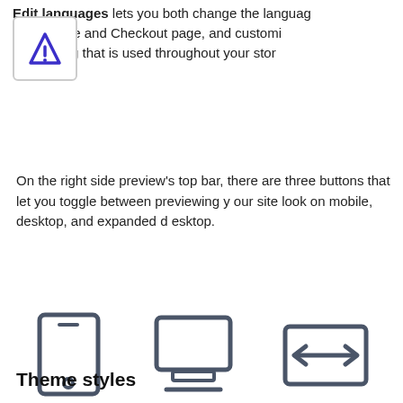Edit languages lets you both change the language your theme and Checkout page, and customize the wording that is used throughout your store.
On the right side preview's top bar, there are three buttons that let you toggle between previewing your site look on mobile, desktop, and expanded desktop.
[Figure (illustration): Three icons representing mobile, desktop, and expanded desktop view toggles]
Theme styles